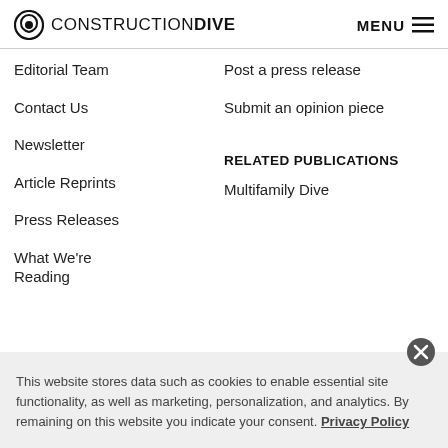CONSTRUCTION DIVE
Editorial Team
Post a press release
Contact Us
Submit an opinion piece
Newsletter
Article Reprints
Press Releases
RELATED PUBLICATIONS
What We're Reading
Multifamily Dive
This website stores data such as cookies to enable essential site functionality, as well as marketing, personalization, and analytics. By remaining on this website you indicate your consent. Privacy Policy